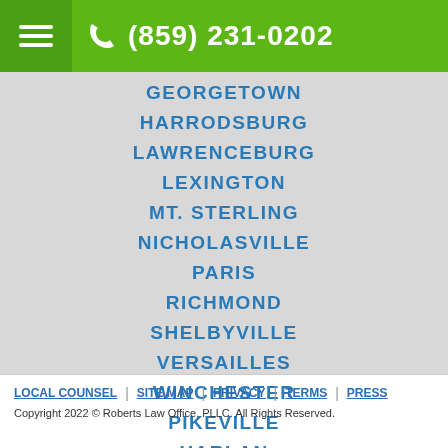(859) 231-0202
GEORGETOWN
HARRODSBURG
LAWRENCEBURG
LEXINGTON
MT. STERLING
NICHOLASVILLE
PARIS
RICHMOND
SHELBYVILLE
VERSAILLES
WINCHESTER
PIKEVILLE
HARLAN
LOCAL COUNSEL | SITE MAP | PRIVACY | TERMS | PRESS
Copyright 2022 © Roberts Law Office, PLLC. All Rights Reserved.